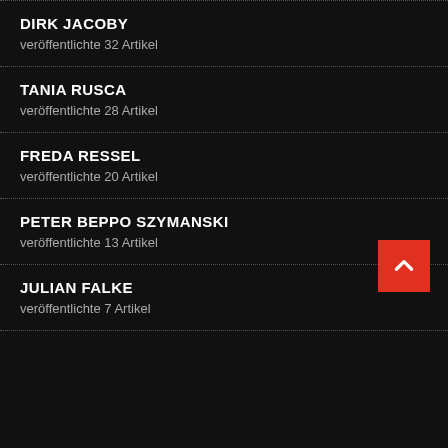DIRK JACOBY
veröffentlichte 32 Artikel
TANIA RUSCA
veröffentlichte 28 Artikel
FREDA RESSEL
veröffentlichte 20 Artikel
PETER BEPPO SZYMANSKI
veröffentlichte 13 Artikel
JULIAN FALKE
veröffentlichte 7 Artikel